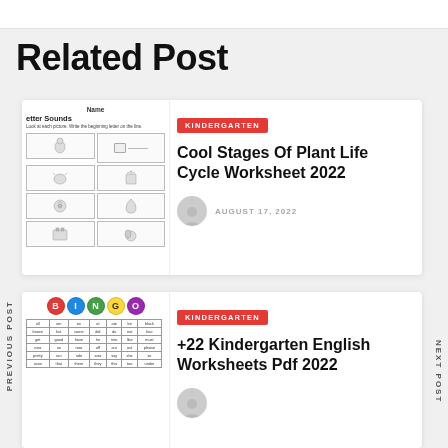Related Post
PREVIOUS POST
NEXT POST
[Figure (illustration): Worksheet thumbnail showing 'Letter Sounds' with a grid of picture boxes]
KINDERGARTEN
Cool Stages Of Plant Life Cycle Worksheet 2022
AUGUST 17, 2022
[Figure (illustration): Bingo card thumbnail with colorful letter circles B I N G O and a word grid]
KINDERGARTEN
+22 Kindergarten English Worksheets Pdf 2022